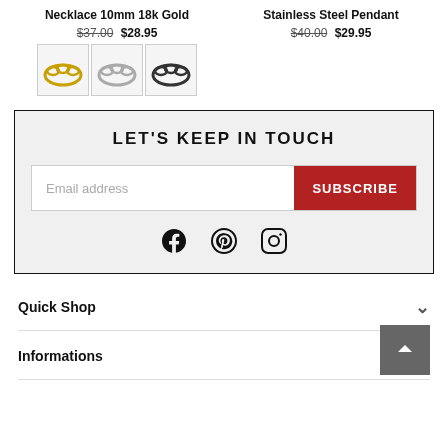Necklace 10mm 18k Gold
$37.00 $28.95
[Figure (photo): Three necklace color swatches: gold, silver, black]
Stainless Steel Pendant
$40.00 $29.95
LET'S KEEP IN TOUCH
Email address
SUBSCRIBE
[Figure (infographic): Social media icons: Facebook, Pinterest, Instagram]
Quick Shop
Informations